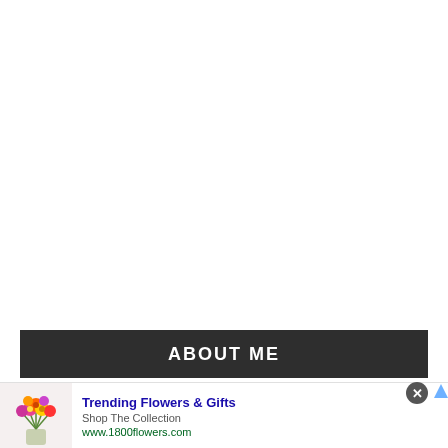ABOUT ME
[Figure (illustration): Advertisement banner showing colorful flower bouquet arrangement with text 'Trending Flowers & Gifts', 'Shop The Collection', 'www.1800flowers.com' and a navigation arrow button on the right side.]